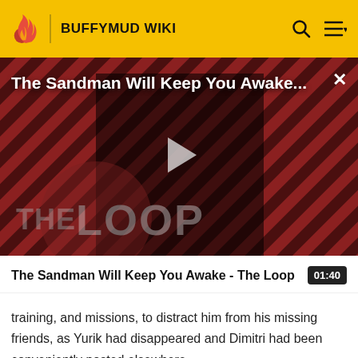BUFFYMUD WIKI
[Figure (screenshot): Video thumbnail for 'The Sandman Will Keep You Awake - The Loop' showing a figure in black cape on a red diagonal striped background with 'THE LOOP' watermark and a play button overlay]
The Sandman Will Keep You Awake - The Loop
training, and missions, to distract him from his missing friends, as Yurik had disappeared and Dimitri had been conveniently posted elsewhere.